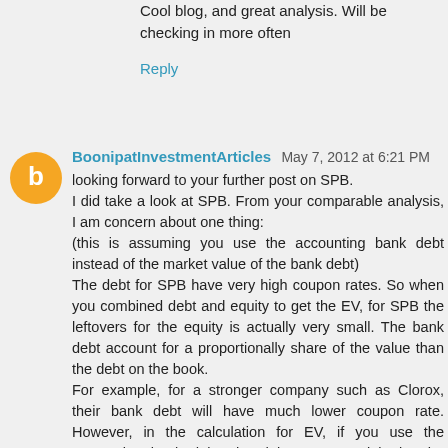Cool blog, and great analysis. Will be checking in more often
Reply
BoonipatInvestmentArticles  May 7, 2012 at 6:21 PM
looking forward to your further post on SPB.
I did take a look at SPB. From your comparable analysis, I am concern about one thing:
(this is assuming you use the accounting bank debt instead of the market value of the bank debt)
The debt for SPB have very high coupon rates. So when you combined debt and equity to get the EV, for SPB the leftovers for the equity is actually very small. The bank debt account for a proportionally share of the value than the debt on the book.
For example, for a stronger company such as Clorox, their bank debt will have much lower coupon rate. However, in the calculation for EV, if you use the accounting bank debt, the debt amount might be the same, but Clorox's equity holder will get a lot more leftover earnings after debt payment compared to SPB's equity holder.